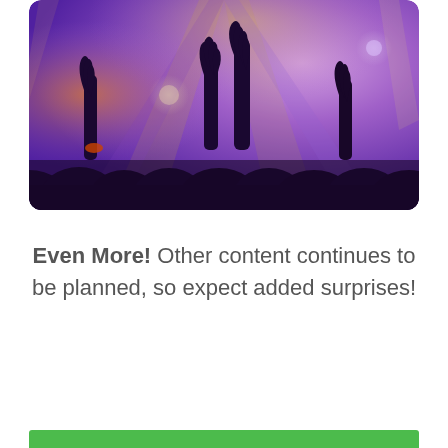[Figure (photo): Concert crowd photo showing silhouetted hands raised against colorful purple and orange stage lighting, with a rounded rectangle frame]
Even More! Other content continues to be planned, so expect added surprises!